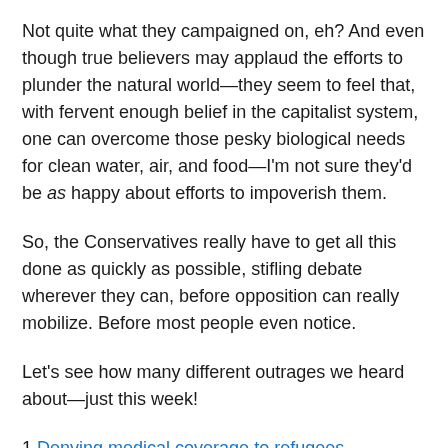Not quite what they campaigned on, eh? And even though true believers may applaud the efforts to plunder the natural world—they seem to feel that, with fervent enough belief in the capitalist system, one can overcome those pesky biological needs for clean water, air, and food—I'm not sure they'd be as happy about efforts to impoverish them.
So, the Conservatives really have to get all this done as quickly as possible, stifling debate wherever they can, before opposition can really mobilize. Before most people even notice.
Let's see how many different outrages we heard about—just this week!
1 Denying medical coverage to refugees